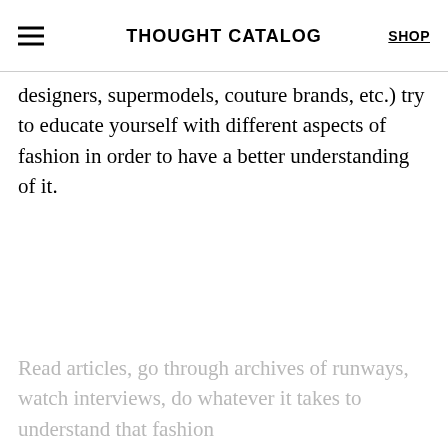THOUGHT CATALOG  SHOP
designers, supermodels, couture brands, etc.) try to educate yourself with different aspects of fashion in order to have a better understanding of it.
Read articles, go through archives of runways, watch interviews, do whatever it takes to understand that fashion